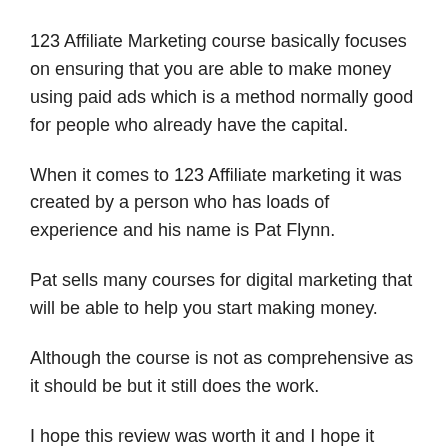123 Affiliate Marketing course basically focuses on ensuring that you are able to make money using paid ads which is a method normally good for people who already have the capital.
When it comes to 123 Affiliate marketing it was created by a person who has loads of experience and his name is Pat Flynn.
Pat sells many courses for digital marketing that will be able to help you start making money.
Although the course is not as comprehensive as it should be but it still does the work.
I hope this review was worth it and I hope it gave you